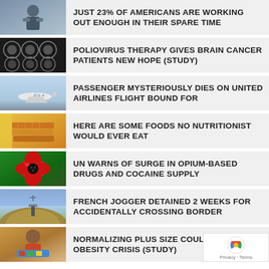JUST 23% OF AMERICANS ARE WORKING OUT ENOUGH IN THEIR SPARE TIME
POLIOVIRUS THERAPY GIVES BRAIN CANCER PATIENTS NEW HOPE (STUDY)
PASSENGER MYSTERIOUSLY DIES ON UNITED AIRLINES FLIGHT BOUND FOR
HERE ARE SOME FOODS NO NUTRITIONIST WOULD EVER EAT
UN WARNS OF SURGE IN OPIUM-BASED DRUGS AND COCAINE SUPPLY
FRENCH JOGGER DETAINED 2 WEEKS FOR ACCIDENTALLY CROSSING BORDER
NORMALIZING PLUS SIZE COULD FUEL OBESITY CRISIS (STUDY)